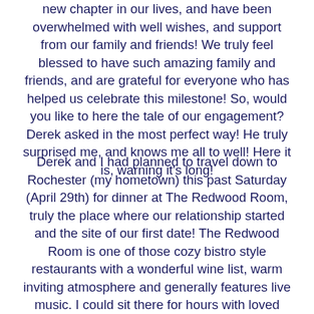new chapter in our lives, and have been overwhelmed with well wishes, and support from our family and friends!  We truly feel blessed to have such amazing family and friends, and are grateful for everyone who has helped us celebrate this milestone! So, would you like to here the tale of our engagement?  Derek asked in the most perfect way!  He truly surprised me, and knows me all to well!  Here it is, warning it's long!
Derek and I had planned to travel down to Rochester (my hometown) this past Saturday (April 29th) for dinner at The Redwood Room, truly the place where our relationship started and the site of our first date!  The Redwood Room is one of those cozy bistro style restaurants with a wonderful wine list, warm inviting atmosphere and generally features live music.  I could sit there for hours with loved ones chatting the evening away!  Ok, I am getting off track!  Anyways, Once Derek and I arrived at my parents, I was immediately whisked away for a mani/pedi outing with my mom and sis!  It was oh so relaxing and nice to spend time